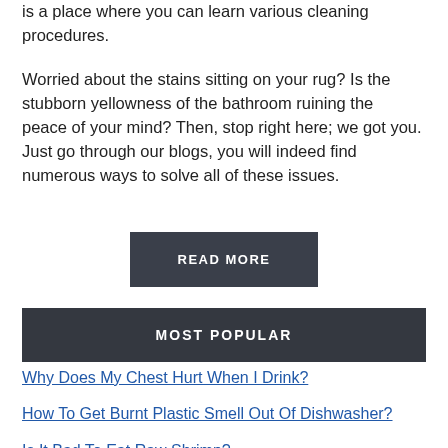is a place where you can learn various cleaning procedures.
Worried about the stains sitting on your rug? Is the stubborn yellowness of the bathroom ruining the peace of your mind? Then, stop right here; we got you. Just go through our blogs, you will indeed find numerous ways to solve all of these issues.
READ MORE
MOST POPULAR
Why Does My Chest Hurt When I Drink?
How To Get Burnt Plastic Smell Out Of Dishwasher?
Is It Bad To Eat Raw Shrimp?